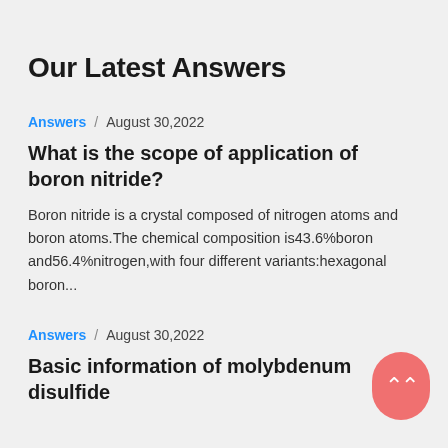Our Latest Answers
Answers / August 30,2022
What is the scope of application of boron nitride?
Boron nitride is a crystal composed of nitrogen atoms and boron atoms.The chemical composition is43.6%boron and56.4%nitrogen,with four different variants:hexagonal boron...
Answers / August 30,2022
Basic information of molybdenum disulfide